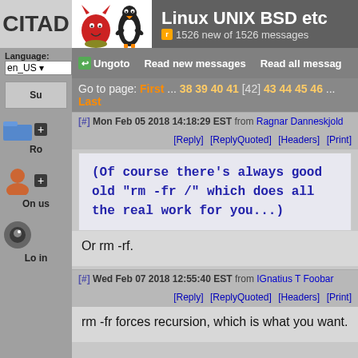CITAD | Linux UNIX BSD etc | 1526 new of 1526 messages
Ungoto | Read new messages | Read all messages
Language: en_US
Go to page: First ... 38 39 40 41 [42] 43 44 45 46 ... Last
[#] Mon Feb 05 2018 14:18:29 EST from Ragnar Danneskjold
[Reply] [ReplyQuoted] [Headers] [Print]
(Of course there's always good old "rm -fr /" which does all the real work for you...)
Or rm -rf.
[#] Wed Feb 07 2018 12:55:40 EST from IGnatius T Foobar
[Reply] [ReplyQuoted] [Headers] [Print]
rm -fr forces recursion, which is what you want.